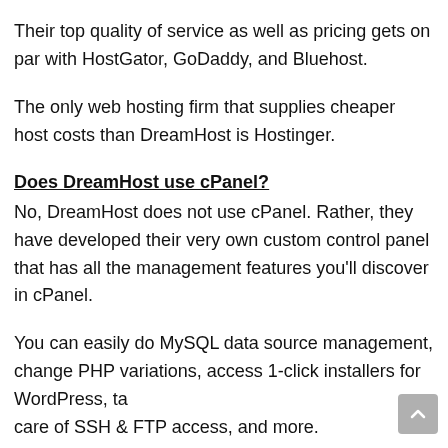Their top quality of service as well as pricing gets on par with HostGator, GoDaddy, and Bluehost.
The only web hosting firm that supplies cheaper host costs than DreamHost is Hostinger.
Does DreamHost use cPanel?
No, DreamHost does not use cPanel. Rather, they have developed their very own custom control panel that has all the management features you'll discover in cPanel.
You can easily do MySQL data source management, change PHP variations, access 1-click installers for WordPress, take care of SSH & FTP access, and more.